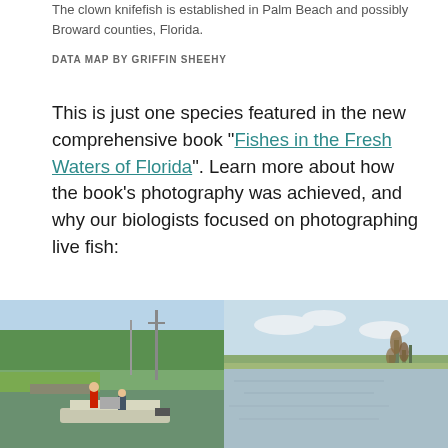The clown knifefish is established in Palm Beach and possibly Broward counties, Florida.
DATA MAP BY GRIFFIN SHEEHY
This is just one species featured in the new comprehensive book “Fishes in the Fresh Waters of Florida”. Learn more about how the book’s photography was achieved, and why our biologists focused on photographing live fish:
Florida fishes book features live photos
BROWSE ONLINE GALLERY
[Figure (photo): A flat-bottomed boat with researchers on a waterway near greenery and utility poles.]
[Figure (photo): A wide flat canal or waterway with tall reeds on the bank and flat agricultural land in the background.]